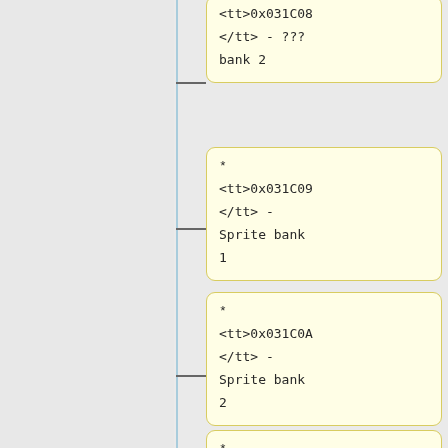0x031C08 - ??? bank 2
0x031C09 - Sprite bank 1
0x031C0A - Sprite bank 2
0x031C0B - Sprite bank 3
* (partial)